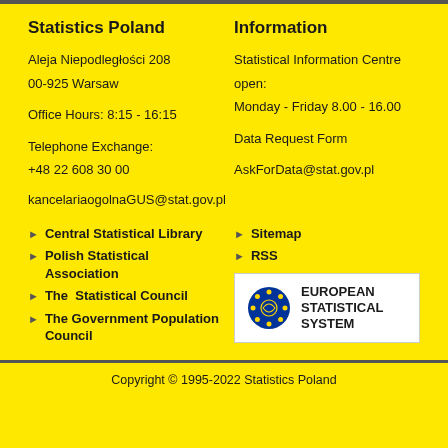Statistics Poland
Aleja Niepodległości 208
00-925 Warsaw

Office Hours: 8:15 - 16:15

Telephone Exchange:
+48 22 608 30 00
Information
Statistical Information Centre
open:
Monday - Friday 8.00 - 16.00

Data Request Form

AskForData@stat.gov.pl
kancelariaogolnaGUS@stat.gov.pl
Central Statistical Library
Polish Statistical Association
The  Statistical Council
The Government Population Council
Sitemap
RSS
[Figure (logo): European Statistical System logo with EU stars circle emblem and text EUROPEAN STATISTICAL SYSTEM]
Copyright © 1995-2022 Statistics Poland